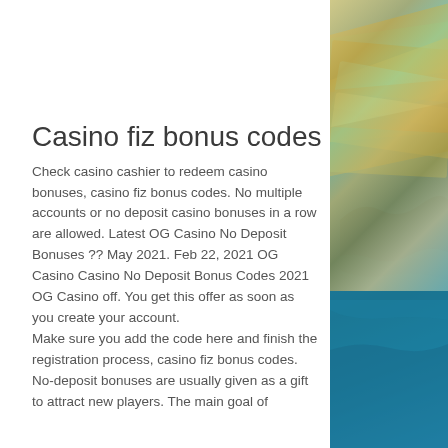Casino fiz bonus codes
Check casino cashier to redeem casino bonuses, casino fiz bonus codes. No multiple accounts or no deposit casino bonuses in a row are allowed. Latest OG Casino No Deposit Bonuses ?? May 2021. Feb 22, 2021 OG Casino Casino No Deposit Bonus Codes 2021 OG Casino off. You get this offer as soon as you create your account.
Make sure you add the code here and finish the registration process, casino fiz bonus codes.
No-deposit bonuses are usually given as a gift to attract new players. The main goal of
[Figure (photo): Photo of world map made of Euro banknotes on a blue background, positioned on the right side of the page]